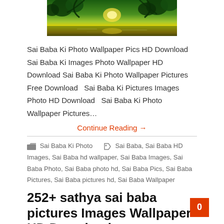[Figure (photo): Nature landscape photo showing a tropical forest scene with water reflection, green trees, sunlight, yellow-green tones]
Sai Baba Ki Photo Wallpaper Pics HD Download Sai Baba Ki Images Photo Wallpaper HD Download Sai Baba Ki Photo Wallpaper Pictures Free Download   Sai Baba Ki Pictures Images Photo HD Download   Sai Baba Ki Photo Wallpaper Pictures…
Continue Reading →
Sai Baba Ki Photo   Sai Baba, Sai Baba HD Images, Sai Baba hd wallpaper, Sai Baba Images, Sai Baba Photo, Sai Baba photo hd, Sai Baba Pics, Sai Baba Pictures, Sai Baba pictures hd, Sai Baba Wallpaper
252+ sathya sai baba pictures Images Wallpaper HD Download